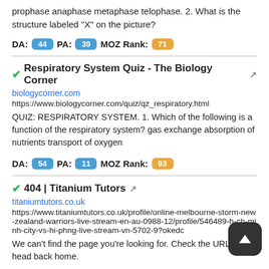prophase anaphase metaphase telophase. 2. What is the structure labeled "X" on the picture?
DA: 44  PA: 39  MOZ Rank: 71
Respiratory System Quiz - The Biology Corner
biologycorner.com
https://www.biologycorner.com/quiz/qz_respiratory.html
QUIZ: RESPIRATORY SYSTEM. 1. Which of the following is a function of the respiratory system? gas exchange absorption of nutrients transport of oxygen
DA: 54  PA: 11  MOZ Rank: 93
404 | Titanium Tutors
titaniumtutors.co.uk
https://www.titaniumtutors.co.uk/profile/online-melbourne-storm-new-zealand-warriors-live-stream-en-au-0988-12/profile/546489-h-ch-minh-city-vs-hi-phng-live-stream-vn-5702-9?okedc
We can't find the page you're looking for. Check the URL, or head back home.